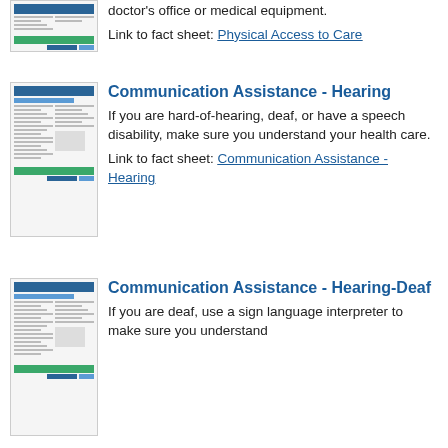doctor's office or medical equipment.
Link to fact sheet: Physical Access to Care
[Figure (illustration): Thumbnail image of a fact sheet document titled 'Communication Assistance - Hearing']
Communication Assistance - Hearing
If you are hard-of-hearing, deaf, or have a speech disability, make sure you understand your health care.
Link to fact sheet: Communication Assistance - Hearing
[Figure (illustration): Thumbnail image of a fact sheet document titled 'Communication Assistance - Hearing-Deaf']
Communication Assistance - Hearing-Deaf
If you are deaf, use a sign language interpreter to make sure you understand